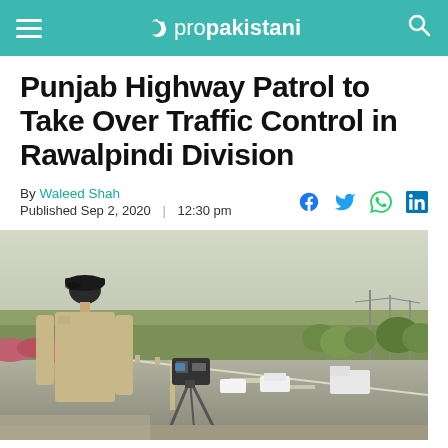propakistani
Punjab Highway Patrol to Take Over Traffic Control in Rawalpindi Division
By Waleed Shah
Published Sep 2, 2020 | 12:30 pm
[Figure (photo): A highway patrol officer in uniform standing roadside with a speed camera on a tripod, monitoring traffic on a multi-lane highway with trees and utility poles in the background.]